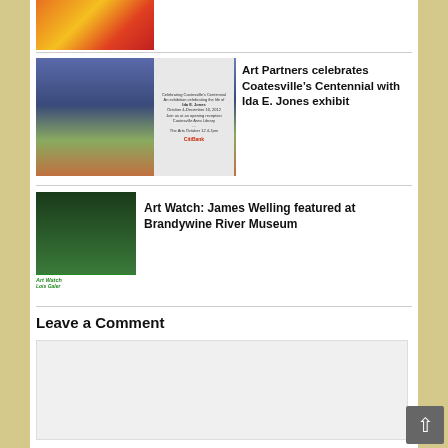[Figure (photo): Colorful festival or art image at top of page]
Art Partners celebrates Coatesville's Centennial with Ida E. Jones exhibit
[Figure (photo): Thumbnail of art exhibit flyer with flower painting]
Art Watch: James Welling featured at Brandywine River Museum
[Figure (photo): Photo of woman with Art Watch Lois Galer byline]
Leave a Comment